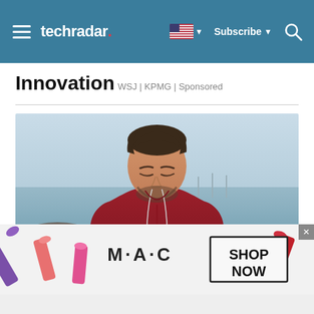techradar. — Subscribe
Innovation
WSJ | KPMG | Sponsored
[Figure (photo): Man in red hoodie with earphones looking down, photographed outdoors near a waterfront with rocks in background]
[Figure (photo): MAC cosmetics advertisement showing lipsticks with SHOP NOW button]